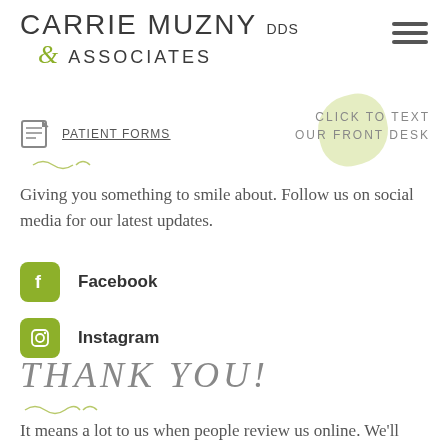[Figure (logo): Carrie Muzny DDS & Associates dental practice logo with green ampersand]
[Figure (other): Hamburger menu icon (three horizontal lines)]
PATIENT FORMS
CLICK TO TEXT OUR FRONT DESK
Giving you something to smile about. Follow us on social media for our latest updates.
[Figure (other): Green Facebook icon square with f logo]
Facebook
[Figure (other): Green Instagram icon square with camera logo]
Instagram
THANK YOU!
It means a lot to us when people review us online. We'll continue going above and beyond for you. Thank you for sharing your support!